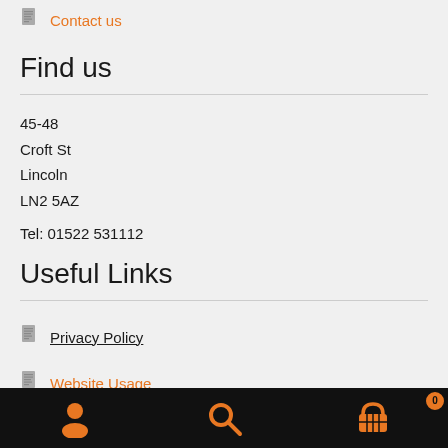Contact us
Find us
45-48
Croft St
Lincoln
LN2 5AZ
Tel: 01522 531112
Useful Links
Privacy Policy
Website Usage
[Figure (other): Bottom navigation bar with person/account icon, search icon, and shopping basket icon with badge showing 0]